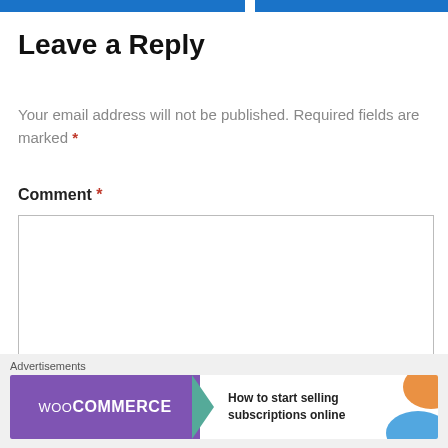[Figure (screenshot): Blue navigation bar segments at the top of the page]
Leave a Reply
Your email address will not be published. Required fields are marked *
Comment *
[Figure (screenshot): Empty comment text area input field]
[Figure (screenshot): Close/dismiss button (circled X) at bottom right]
[Figure (screenshot): Advertisements banner: WooCommerce - How to start selling subscriptions online]